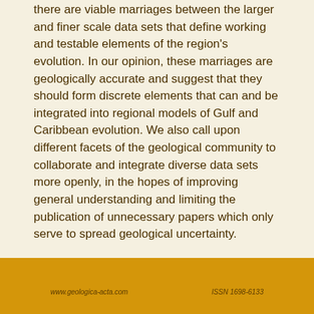there are viable marriages between the larger and finer scale data sets that define working and testable elements of the region's evolution. In our opinion, these marriages are geologically accurate and suggest that they should form discrete elements that can and be integrated into regional models of Gulf and Caribbean evolution. We also call upon different facets of the geological community to collaborate and integrate diverse data sets more openly, in the hopes of improving general understanding and limiting the publication of unnecessary papers which only serve to spread geological uncertainty.
Author Biography
J. PINDELL, Tectonic Analysis Ltd. and Rice University
Department of Earth Science
www.geologica-acta.com    ISSN 1698-6133